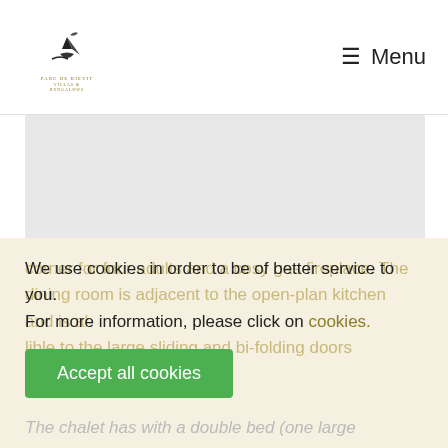Parc de Kievit — Menu
[Figure (photo): Photo of a chalet interior or exterior — shown as light gray placeholder]
Description
Modern, cozily furnished chalet suitable for four persons
Atmospheric chalet with a tidy lounge corner, a dining corner for four adults and a cosy gas fireplace. The dining room is adjacent to the open-plan kitchen and is visible to the large sliding and bi-fold doors
We use cookies in order to be of better service to you. For more information, please click on cookies.
Accept all cookies
The chalet has with a double bed (one large